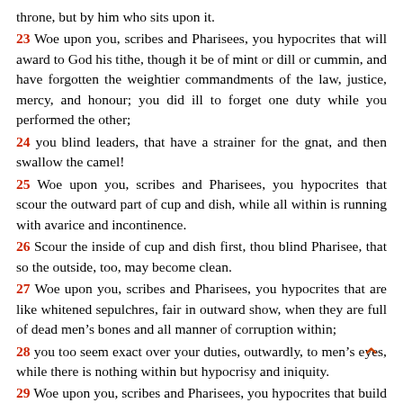throne, but by him who sits upon it.
23 Woe upon you, scribes and Pharisees, you hypocrites that will award to God his tithe, though it be of mint or dill or cummin, and have forgotten the weightier commandments of the law, justice, mercy, and honour; you did ill to forget one duty while you performed the other;
24 you blind leaders, that have a strainer for the gnat, and then swallow the camel!
25 Woe upon you, scribes and Pharisees, you hypocrites that scour the outward part of cup and dish, while all within is running with avarice and incontinence.
26 Scour the inside of cup and dish first, thou blind Pharisee, that so the outside, too, may become clean.
27 Woe upon you, scribes and Pharisees, you hypocrites that are like whitened sepulchres, fair in outward show, when they are full of dead men’s bones and all manner of corruption within;
28 you too seem exact over your duties, outwardly, to men’s eyes, while there is nothing within but hypocrisy and iniquity.
29 Woe upon you, scribes and Pharisees, you hypocrites that build up the tombs of the prophets and engrave the monuments of the just;
30 If we had lived in our fathers’ times, you say, we would not